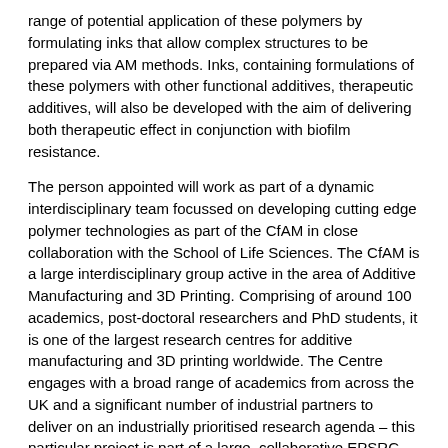range of potential application of these polymers by formulating inks that allow complex structures to be prepared via AM methods. Inks, containing formulations of these polymers with other functional additives, therapeutic additives, will also be developed with the aim of delivering both therapeutic effect in conjunction with biofilm resistance.
The person appointed will work as part of a dynamic interdisciplinary team focussed on developing cutting edge polymer technologies as part of the CfAM in close collaboration with the School of Life Sciences. The CfAM is a large interdisciplinary group active in the area of Additive Manufacturing and 3D Printing. Comprising of around 100 academics, post-doctoral researchers and PhD students, it is one of the largest research centres for additive manufacturing and 3D printing worldwide. The Centre engages with a broad range of academics from across the UK and a significant number of industrial partners to deliver on an industrially prioritised research agenda – this particular project is part of a large, collaborative EPSRC Programme Grant looking at Next Generation Additive Manufacturing (EP/P031684/1).
Eligibility
Due to funding restrictions, the position is only available for home/UK